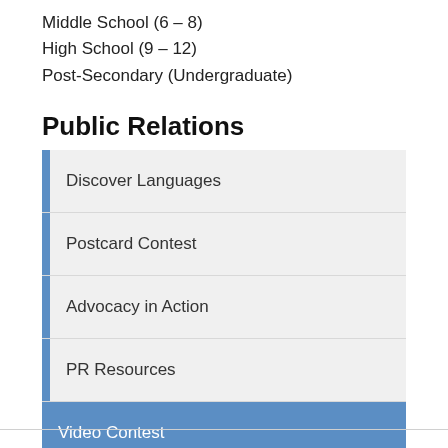Middle School (6 – 8)
High School (9 – 12)
Post-Secondary (Undergraduate)
Public Relations
Discover Languages
Postcard Contest
Advocacy in Action
PR Resources
Video Contest